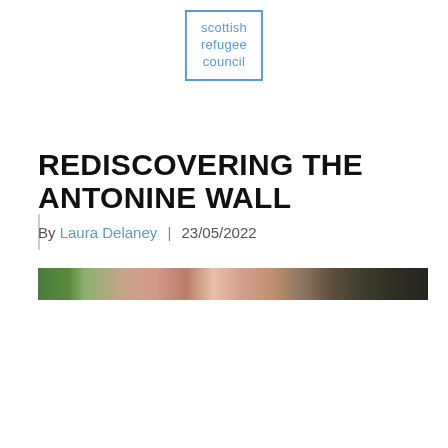[Figure (logo): Scottish Refugee Council logo: text 'scottish refugee council' in a blue-bordered box]
REDISCOVERING THE ANTONINE WALL
By Laura Delaney | 23/05/2022
[Figure (photo): A horizontal strip showing part of a photograph, likely of people outdoors with green foliage and skin tones visible]